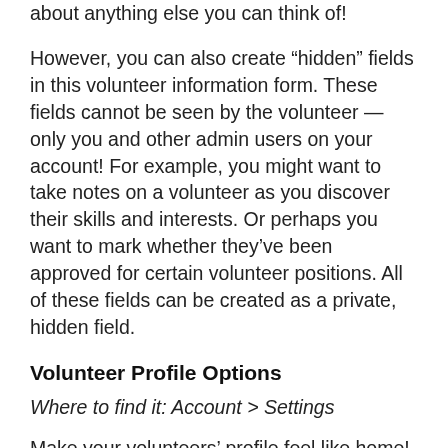about anything else you can think of!
However, you can also create “hidden” fields in this volunteer information form. These fields cannot be seen by the volunteer — only you and other admin users on your account! For example, you might want to take notes on a volunteer as you discover their skills and interests. Or perhaps you want to mark whether they’ve been approved for certain volunteer positions. All of these fields can be created as a private, hidden field.
Volunteer Profile Options
Where to find it: Account > Settings
Make your volunteers’ profile feel like home! Customize the header content of every volunteers’ profile, complete with a warm thank-you, further instructions, or more information about your organization.